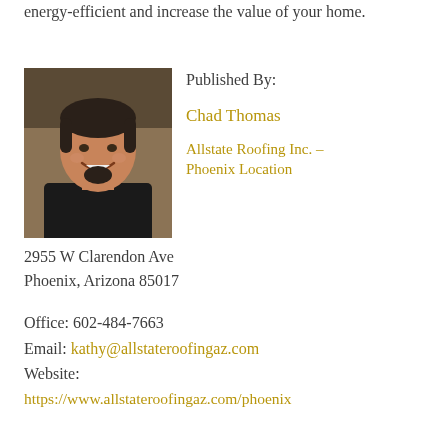energy-efficient and increase the value of your home.
[Figure (photo): Headshot photo of Chad Thomas, a man smiling, with dark hair and goatee, wearing a black shirt, indoors.]
Published By:
Chad Thomas
Allstate Roofing Inc. – Phoenix Location
2955 W Clarendon Ave
Phoenix, Arizona 85017
Office: 602-484-7663
Email: kathy@allstateroofingaz.com
Website:
https://www.allstateroofingaz.com/phoenix